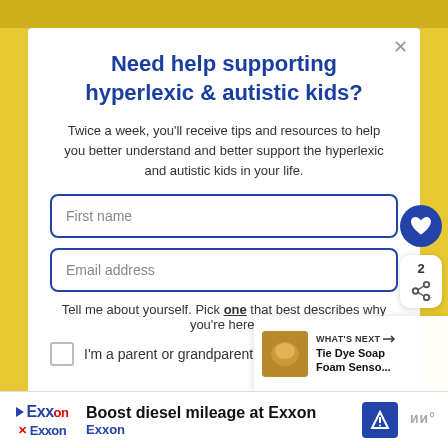[Figure (screenshot): Yellow decorative banner at the top of the page]
Need help supporting hyperlexic & autistic kids?
Twice a week, you'll receive tips and resources to help you better understand and better support the hyperlexic and autistic kids in your life.
First name
Email address
Tell me about yourself. Pick one that best describes why you're here.
I'm a parent or grandparent
[Figure (infographic): WHAT'S NEXT arrow label with Tie Dye Soap Foam Senso... thumbnail]
[Figure (screenshot): Advertisement: Boost diesel mileage at Exxon, Exxon brand ad with logo and navigation icon]